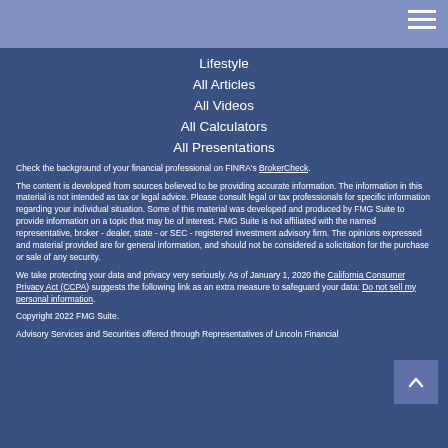Lifestyle
All Articles
All Videos
All Calculators
All Presentations
Check the background of your financial professional on FINRA's BrokerCheck.
The content is developed from sources believed to be providing accurate information. The information in this material is not intended as tax or legal advice. Please consult legal or tax professionals for specific information regarding your individual situation. Some of this material was developed and produced by FMG Suite to provide information on a topic that may be of interest. FMG Suite is not affiliated with the named representative, broker - dealer, state - or SEC - registered investment advisory firm. The opinions expressed and material provided are for general information, and should not be considered a solicitation for the purchase or sale of any security.
We take protecting your data and privacy very seriously. As of January 1, 2020 the California Consumer Privacy Act (CCPA) suggests the following link as an extra measure to safeguard your data: Do not sell my personal information.
Copyright 2022 FMG Suite.
Advisory Services and Securities offered through Representatives of Lincoln Financial